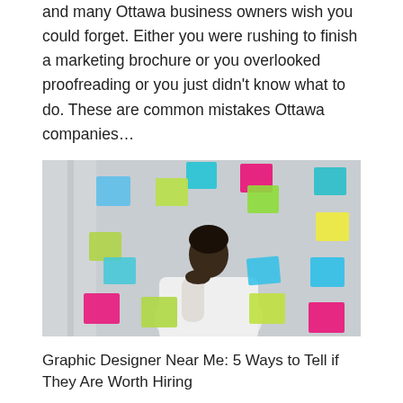and many Ottawa business owners wish you could forget. Either you were rushing to finish a marketing brochure or you overlooked proofreading or you just didn't know what to do. These are common mistakes Ottawa companies...
[Figure (photo): A man in a white shirt resting his chin on his hand, surrounded by colorful sticky notes (blue, yellow, green, pink) on a glass wall, looking thoughtful.]
Graphic Designer Near Me: 5 Ways to Tell if They Are Worth Hiring